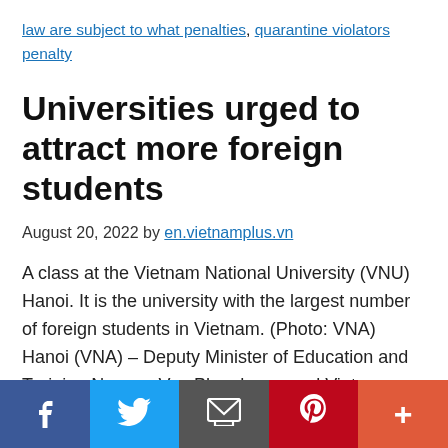law are subject to what penalties, quarantine violators penalty
Universities urged to attract more foreign students
August 20, 2022 by en.vietnamplus.vn
A class at the Vietnam National University (VNU) Hanoi. It is the university with the largest number of foreign students in Vietnam. (Photo: VNA) Hanoi (VNA) – Deputy Minister of Education and Training Nguyen Van Phuc has urged Vietnamese universities to improve quality of their programmes and beef